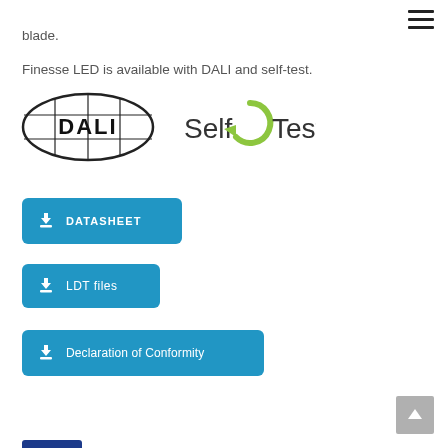blade.
Finesse LED is available with DALI and self-test.
[Figure (logo): DALI logo (oval with DALI text inside grid lines) and Self Test logo (circular green arrow with 'Self Test' text)]
DATASHEET (download button)
LDT files (download button)
Declaration of Conformity (download button)